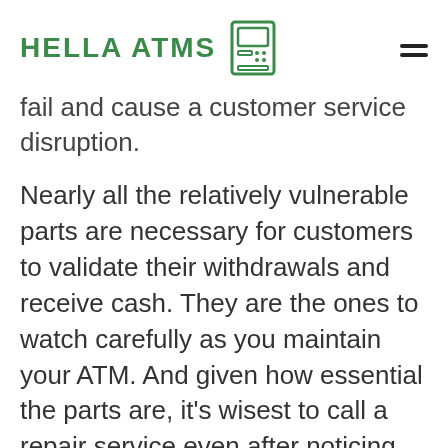HELLA ATMS
fail and cause a customer service disruption.
Nearly all the relatively vulnerable parts are necessary for customers to validate their withdrawals and receive cash. They are the ones to watch carefully as you maintain your ATM. And given how essential the parts are, it’s wisest to call a repair service even after noticing seemingly minor problems.
2. Maintaining the